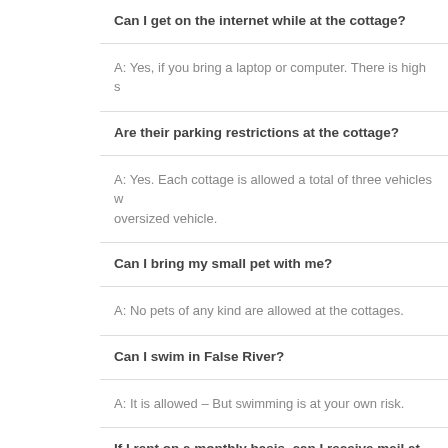Can I get on the internet while at the cottage?
A: Yes, if you bring a laptop or computer. There is high s
Are their parking restrictions at the cottage?
A: Yes. Each cottage is allowed a total of three vehicles w oversized vehicle.
Can I bring my small pet with me?
A: No pets of any kind are allowed at the cottages.
Can I swim in False River?
A: It is allowed – But swimming is at your own risk.
If I rent on a monthly basis, can I receive mail at the co